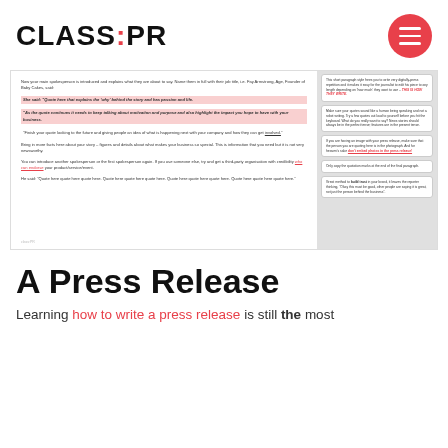CLASS:PR
[Figure (screenshot): A press release template document preview with annotated callout boxes on the right side, showing text about spokesperson introductions, quotes, and body copy. Red annotation boxes explain formatting tips.]
A Press Release
Learning how to write a press release is still the most